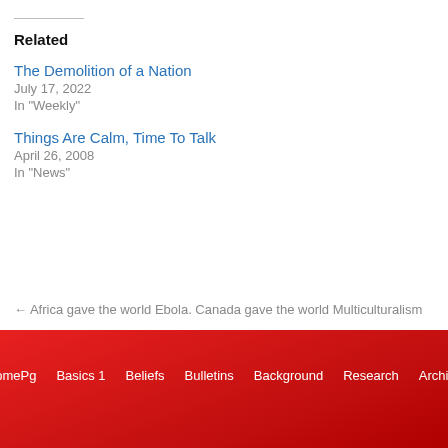Related
The Demolition of a Nation
July 17, 2022
In "Weekly"
Things Are Calm, Time To Talk
April 26, 2008
In "News"
← Africa gave the world Ebola. Canada gave the world Multiculturalism
HomePg  Basics 1  Beliefs  Bulletins  Background  Research  Archive